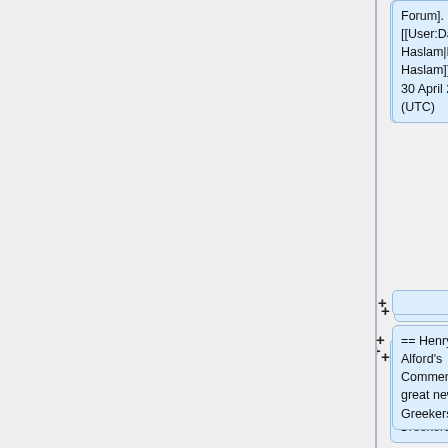Forum]. [[User:David Haslam|David Haslam]] 10:38, 30 April 2010 (UTC)
+
== Henry Alford's Commentary - great news for Greekers. ==
+
See http://teampyro.blogspot.com/2008/05/great-news-for-greekers-alford-gets.html
+